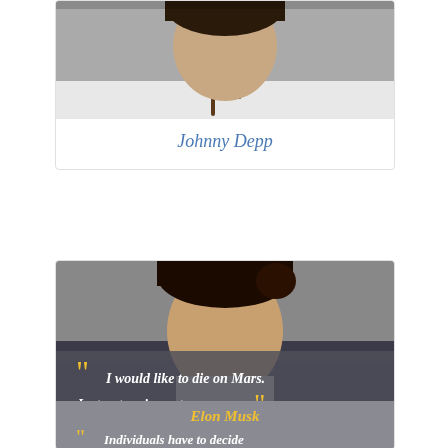[Figure (photo): Cropped photo of Johnny Depp showing partial head/neck with necklace and white shirt]
Johnny Depp
[Figure (photo): Photo of Elon Musk with dark hair, grey background, overlaid with a quote in semi-transparent grey banner: "I would like to die on Mars. Just not on impact." with yellow quotation marks]
Elon Musk
Individuals have to decide